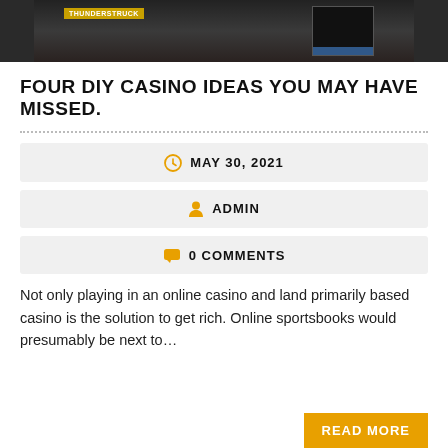[Figure (photo): Top portion of a casino/slot machine image cropped at the top of the page]
FOUR DIY CASINO IDEAS YOU MAY HAVE MISSED.
MAY 30, 2021
ADMIN
0 COMMENTS
Not only playing in an online casino and land primarily based casino is the solution to get rich. Online sportsbooks would presumably be next to…
READ MORE